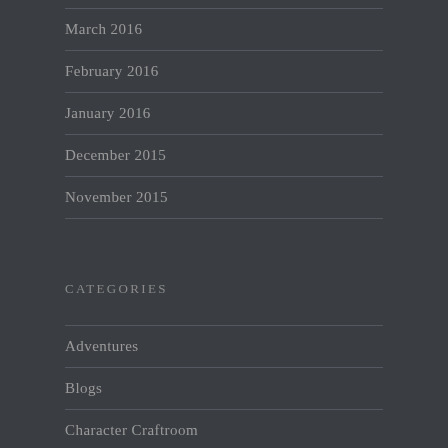March 2016
February 2016
January 2016
December 2015
November 2015
CATEGORIES
Adventures
Blogs
Character Craftroom